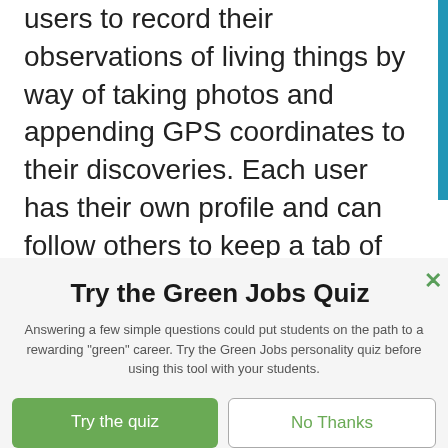users to record their observations of living things by way of taking photos and appending GPS coordinates to their discoveries. Each user has their own profile and can follow others to keep a tab of what others are posting, or share what they have
Try the Green Jobs Quiz
Answering a few simple questions could put students on the path to a rewarding "green" career. Try the Green Jobs personality quiz before using this tool with your students.
Try the quiz
No Thanks